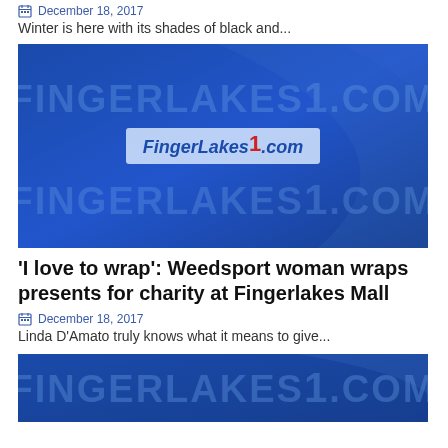December 18, 2017
Winter is here with its shades of black and...
[Figure (logo): FingerLakes1.com logo on blue watermark background with FINGERLAKES1.COM text repeated]
'I love to wrap': Weedsport woman wraps presents for charity at Fingerlakes Mall
December 18, 2017
Linda D'Amato truly knows what it means to give...
[Figure (logo): FingerLakes1.com logo on blue watermark background with FINGERLAKES1.COM text (partial, bottom of page)]